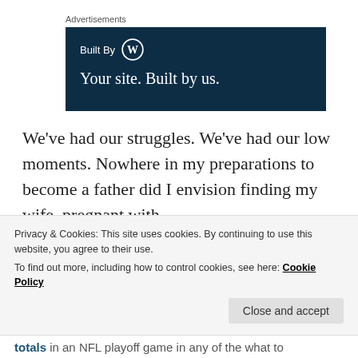Advertisements
[Figure (illustration): WordPress 'Built By' advertisement banner with dark navy background. Shows 'Built By' text with WordPress logo, and tagline 'Your site. Built by us.']
We've had our struggles. We've had our low moments. Nowhere in my preparations to become a father did I envision finding my wife, pregnant with
Privacy & Cookies: This site uses cookies. By continuing to use this website, you agree to their use.
To find out more, including how to control cookies, see here: Cookie Policy
Close and accept
totals in an NFL playoff game in any of the what to